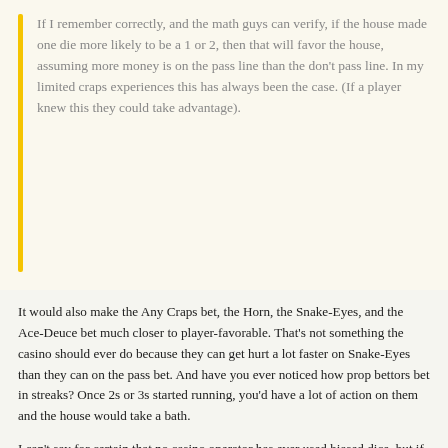If I remember correctly, and the math guys can verify, if the house made one die more likely to be a 1 or 2, then that will favor the house, assuming more money is on the pass line than the don't pass line. In my limited craps experiences this has always been the case. (If a player knew this they could take advantage).
It would also make the Any Craps bet, the Horn, the Snake-Eyes, and the Ace-Deuce bet much closer to player-favorable. That's not something the casino should ever do because they can get hurt a lot faster on Snake-Eyes than they can on the pass bet. And have you ever noticed how prop bettors bet in streaks? Once 2s or 3s started running, you'd have a lot of action on them and the house would take a bath.
I can't say for certain that no casino operator has ever used biased dice, but if I were the TGD I'd never do it. For the small edge gain on the passline you'd be giving up potentially double-digit edges on your prop bets. That's not a good tradeoff.
*In my own case, when it seemed to me after a long illness that death was close at hand, I found no little solace in playing